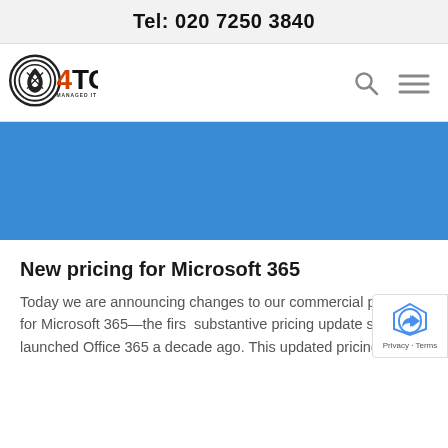Tel: 020 7250 3840
[Figure (logo): 4TC Managed IT Services logo with circular emblem and orange/black text]
[Figure (photo): Blue banner image area]
New pricing for Microsoft 365
Today we are announcing changes to our commercial pricing for Microsoft 365—the first substantive pricing update since we launched Office 365 a decade ago. This updated pricing